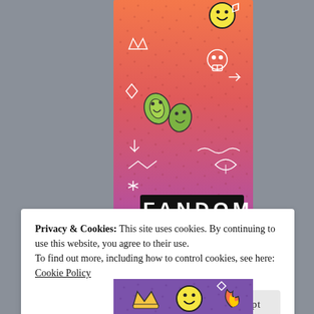[Figure (illustration): Tumblr 'Fandom on Tumblr' promotional banner with orange-to-purple gradient background, white doodle patterns, sticker illustrations (smiley face, leaf creatures, skull, squid/octopus), and bold text reading 'FANDOM ON tumblr']
Privacy & Cookies: This site uses cookies. By continuing to use this website, you agree to their use.
To find out more, including how to control cookies, see here:
Cookie Policy
Close and accept
[Figure (illustration): Bottom portion of Tumblr purple banner with sticker illustrations (crown, smiley face, fire)]